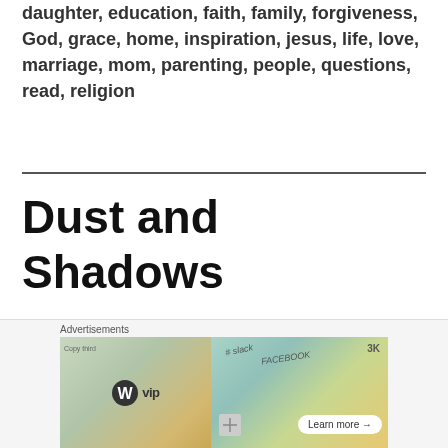daughter, education, faith, family, forgiveness, God, grace, home, inspiration, jesus, life, love, marriage, mom, parenting, people, questions, read, religion
Dust and Shadows
9 years old and it is simply amazing
[Figure (other): WordPress VIP advertisement banner with a close button, showing the WordPress VIP logo on the left and social media brand cards (Slack, Facebook) on the right with a Learn more button]